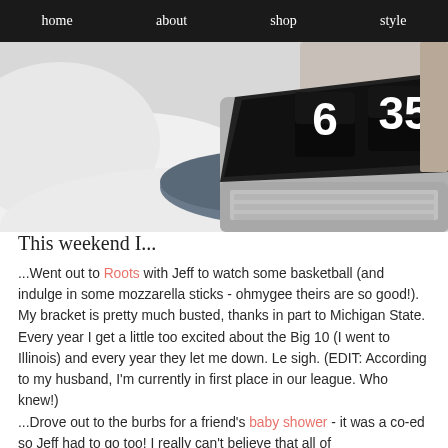home   about   shop   style
[Figure (photo): A laptop showing a flip clock reading 6:35, resting on a folded gray scarf or sweater on a white bed with white pillows and bedding.]
This weekend I...
...Went out to Roots with Jeff to watch some basketball (and indulge in some mozzarella sticks - ohmygee theirs are so good!). My bracket is pretty much busted, thanks in part to Michigan State. Every year I get a little too excited about the Big 10 (I went to Illinois) and every year they let me down. Le sigh. (EDIT: According to my husband, I'm currently in first place in our league. Who knew!)
...Drove out to the burbs for a friend's baby shower - it was a co-ed so Jeff had to go too! I really can't believe that all of